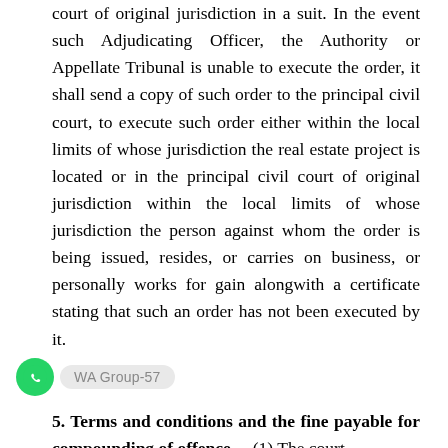court of original jurisdiction in a suit. In the event such Adjudicating Officer, the Authority or Appellate Tribunal is unable to execute the order, it shall send a copy of such order to the principal civil court, to execute such order either within the local limits of whose jurisdiction the real estate project is located or in the principal civil court of original jurisdiction within the local limits of whose jurisdiction the person against whom the order is being issued, resides, or carries on business, or personally works for gain alongwith a certificate stating that such an order has not been executed by it.
WA Group-57
5. Terms and conditions and the fine payable for compounding of offence.—(1) The court